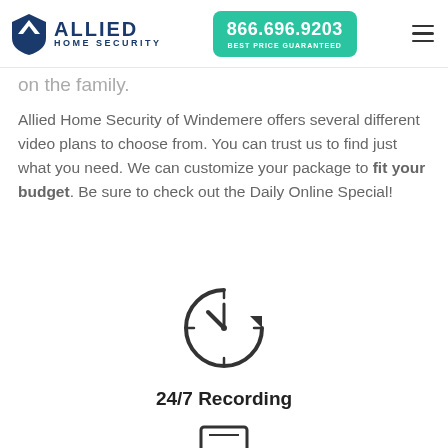Allied Home Security | 866.696.9203 | BEST PRICE GUARANTEED
on the family.
Allied Home Security of Windemere offers several different video plans to choose from. You can trust us to find just what you need. We can customize your package to fit your budget. Be sure to check out the Daily Online Special!
[Figure (illustration): Clock icon with circular arrow indicating 24/7 recording]
24/7 Recording
[Figure (illustration): Partial icon at bottom of page (monitor/screen)]